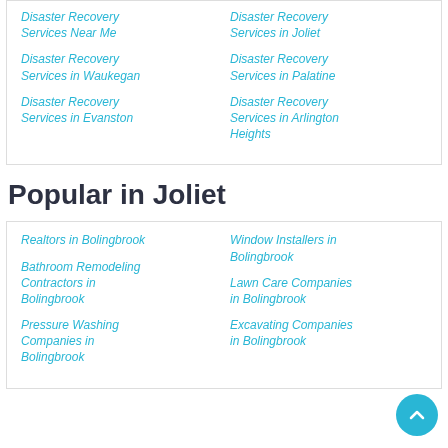Disaster Recovery Services Near Me
Disaster Recovery Services in Joliet
Disaster Recovery Services in Waukegan
Disaster Recovery Services in Palatine
Disaster Recovery Services in Evanston
Disaster Recovery Services in Arlington Heights
Popular in Joliet
Realtors in Bolingbrook
Window Installers in Bolingbrook
Bathroom Remodeling Contractors in Bolingbrook
Lawn Care Companies in Bolingbrook
Pressure Washing Companies in Bolingbrook
Excavating Companies in Bolingbrook